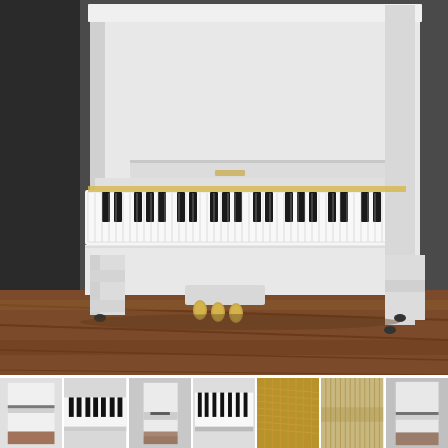[Figure (photo): A white upright piano photographed from a slight angle, showing the full front and right side. The piano has a glossy white finish, black and white keys on the keyboard, gold pedals at the base, and small casters on the legs. It sits on a wooden floor with a dark gray wall in the background.]
[Figure (photo): A row of 7 thumbnail photos of the same white upright piano from various angles and details: full front view, keyboard close-up, side view, keyboard angle, internal mechanism/strings, string/hammer interior, and side/back view.]